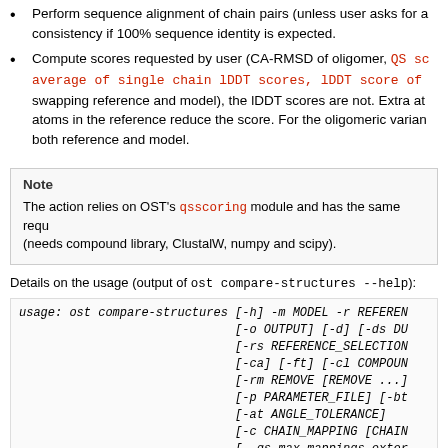Perform sequence alignment of chain pairs (unless user asks for a consistency if 100% sequence identity is expected.
Compute scores requested by user (CA-RMSD of oligomer, QS score, average of single chain lDDT scores, lDDT score of swapping reference and model), the lDDT scores are not. Extra atoms in the reference reduce the score. For the oligomeric variant both reference and model.
Note
The action relies on OST's qsscoring module and has the same requirements (needs compound library, ClustalW, numpy and scipy).
Details on the usage (output of ost compare-structures --help):
usage: ost compare-structures [-h] -m MODEL -r REFERENCE
                              [-o OUTPUT] [-d] [-ds DU
                              [-rs REFERENCE_SELECTION
                              [-ca] [-ft] [-cl COMPOUN
                              [-rm REMOVE [REMOVE ...]
                              [-p PARAMETER_FILE] [-bt
                              [-at ANGLE_TOLERANCE]
                              [-c CHAIN_MAPPING [CHAIN
                              [--qs-max-mappings-exten
                              [-cc] [-rna] [-qs] [--qs
                              [-ir INCLUSION_RADIUS]